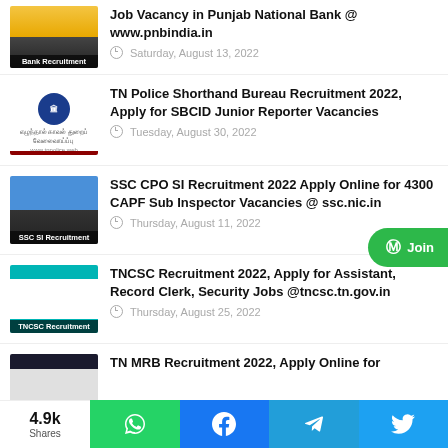Job Vacancy in Punjab National Bank @ www.pnbindia.in — Saturday, August 13, 2022
TN Police Shorthand Bureau Recruitment 2022, Apply for SBCID Junior Reporter Vacancies — Tuesday, August 30, 2022
SSC CPO SI Recruitment 2022 Apply Online for 4300 CAPF Sub Inspector Vacancies @ ssc.nic.in — Thursday, August 11, 2022
TNCSC Recruitment 2022, Apply for Assistant, Record Clerk, Security Jobs @tncsc.tn.gov.in — Thursday, August 25, 2022
TN MRB Recruitment 2022, Apply Online for
4.9k Shares